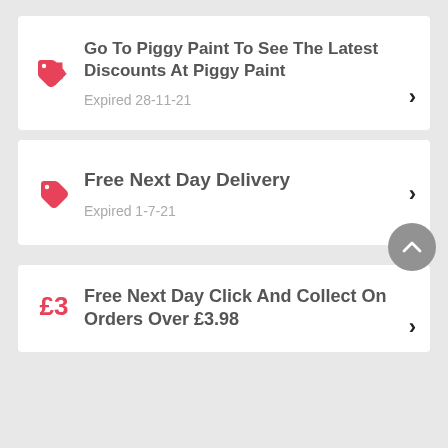Go To Piggy Paint To See The Latest Discounts At Piggy Paint — Expired 28-11-21
Free Next Day Delivery — Expired 1-7-21
Free Next Day Click And Collect On Orders Over £3.98